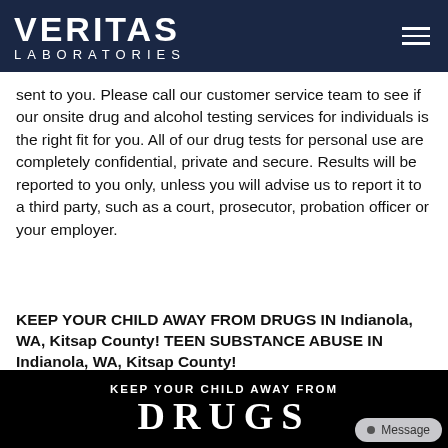VERITAS LABORATORIES
sent to you. Please call our customer service team to see if our onsite drug and alcohol testing services for individuals is the right fit for you. All of our drug tests for personal use are completely confidential, private and secure. Results will be reported to you only, unless you will advise us to report it to a third party, such as a court, prosecutor, probation officer or your employer.
KEEP YOUR CHILD AWAY FROM DRUGS IN Indianola, WA, Kitsap County! TEEN SUBSTANCE ABUSE IN Indianola, WA, Kitsap County!
[Figure (infographic): Black banner with white text reading 'KEEP YOUR CHILD AWAY FROM' above large text 'DRUGS', with a message button overlay in the bottom right corner.]